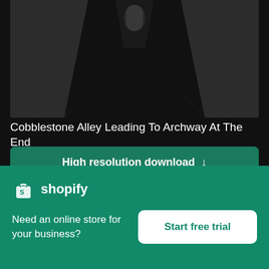[Figure (photo): Dark narrow cobblestone alley leading to an archway, with rough stone walls on both sides]
Cobblestone Alley Leading To Archway At The End
High resolution download ↓
[Figure (photo): Blurred photo with light blue/teal sky background and a blurry figure in the foreground]
[Figure (logo): Shopify logo with bag icon and shopify text]
Need an online store for your business?
Start free trial